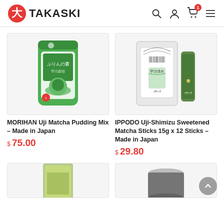TAKASKI
[Figure (photo): MORIHAN Uji Matcha Pudding Mix green tea product bag]
MORIHAN Uji Matcha Pudding Mix – Made in Japan
$ 75.00
[Figure (photo): IPPODO Uji-Shimizu Sweetened Matcha Sticks white bag with green stick packet]
IPPODO Uji-Shimizu Sweetened Matcha Sticks 15g x 12 Sticks – Made in Japan
$ 29.80
[Figure (photo): Partial view of a green/yellow product at bottom left]
[Figure (photo): Partial view of a tin/container product at bottom right]